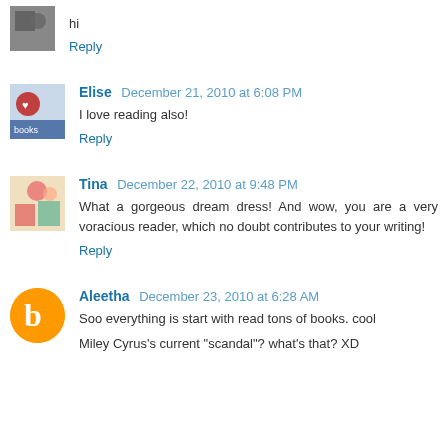hi
Reply
Elise  December 21, 2010 at 6:08 PM
I love reading also!
Reply
Tina  December 22, 2010 at 9:48 PM
What a gorgeous dream dress! And wow, you are a very voracious reader, which no doubt contributes to your writing!
Reply
Aleetha  December 23, 2010 at 6:28 AM
Soo everything is start with read tons of books. cool
Miley Cyrus's current "scandal"? what's that? XD